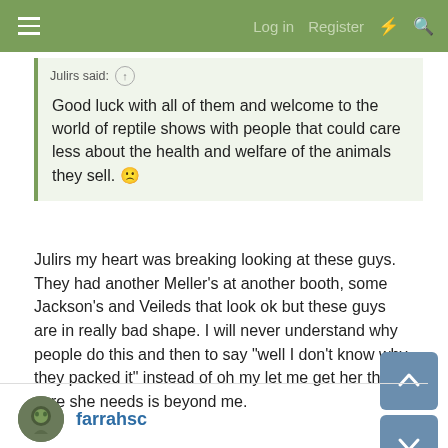Log in  Register
Julirs said:
Good luck with all of them and welcome to the world of reptile shows with people that could care less about the health and welfare of the animals they sell. 🙁
Julirs my heart was breaking looking at these guys. They had another Meller's at another booth, some Jackson's and Veileds that look ok but these guys are in really bad shape. I will never understand why people do this and then to say "well I don't know why they packed it" instead of oh my let me get her the care she needs is beyond me.
farrahsc